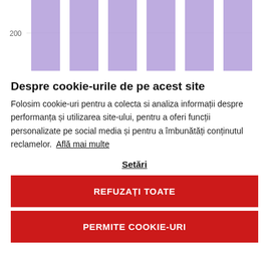[Figure (bar-chart): Partial bar chart showing purple/lavender bars, y-axis label 200 visible, bars cropped at top]
Despre cookie-urile de pe acest site
Folosim cookie-uri pentru a colecta si analiza informații despre performanța și utilizarea site-ului, pentru a oferi funcții personalizate pe social media și pentru a îmbunătăți conținutul reclamelor. Află mai multe
Setări
REFUZAȚI TOATE
PERMITE COOKIE-URI